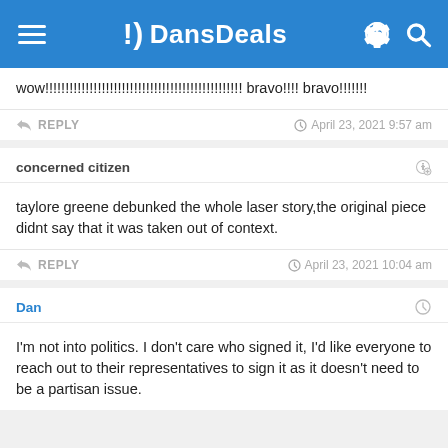DansDeals
wow!!!!!!!!!!!!!!!!!!!!!!!!!!!!!!!!!!!!!!!!!!!!!!!!! bravo!!!! bravo!!!!!!!
REPLY   April 23, 2021 9:57 am
concerned citizen
taylore greene debunked the whole laser story,the original piece didnt say that it was taken out of context.
REPLY   April 23, 2021 10:04 am
Dan
I'm not into politics. I don't care who signed it, I'd like everyone to reach out to their representatives to sign it as it doesn't need to be a partisan issue.